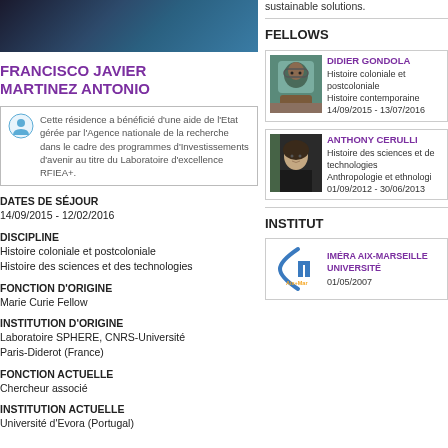[Figure (photo): Dark blue decorative header image strip, left column]
sustainable solutions.
FRANCISCO JAVIER MARTINEZ ANTONIO
Cette résidence a bénéficié d'une aide de l'Etat gérée par l'Agence nationale de la recherche dans le cadre des programmes d'Investissements d'avenir au titre du Laboratoire d'excellence RFIEA+.
DATES DE SÉJOUR
14/09/2015 - 12/02/2016
DISCIPLINE
Histoire coloniale et postcoloniale
Histoire des sciences et des technologies
FONCTION D'ORIGINE
Marie Curie Fellow
INSTITUTION D'ORIGINE
Laboratoire SPHERE, CNRS-Université Paris-Diderot (France)
FONCTION ACTUELLE
Chercheur associé
INSTITUTION ACTUELLE
Université d'Evora (Portugal)
FELLOWS
[Figure (photo): Portrait photo of Didier Gondola]
DIDIER GONDOLA
Histoire coloniale et postcoloniale
Histoire contemporaine
14/09/2015 - 13/07/2016
[Figure (photo): Portrait photo of Anthony Cerulli]
ANTHONY CERULLI
Histoire des sciences et de technologies
Anthropologie et ethnologie
01/09/2012 - 30/06/2013
INSTITUT
[Figure (logo): IMÉRA Aix-Marseille Université logo]
IMÉRA AIX-MARSEILLE UNIVERSITÉ
01/05/2007